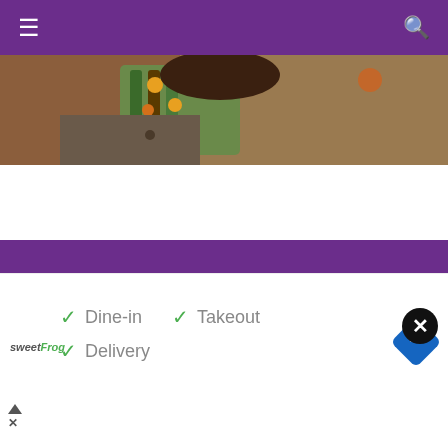☰  Q
[Figure (photo): Close-up photo of a person wearing a sweater with floral garland decoration, colorful braided accessories in green and yellow/orange]
Get Involved   The Team   Past Editors
Donate to Palatinate   Complaints
Dear reader
Welcome to Palatinate's website. We rely on readers' generosity to keep producing award-winning journalism and provide media training opportunities to our team of more than 150 students. Palatinate has produced some of the biggest names in British media
[Figure (screenshot): Advertisement for sweetFrog showing Dine-in, Takeout, and Delivery options with checkmarks, and a navigation/directions icon]